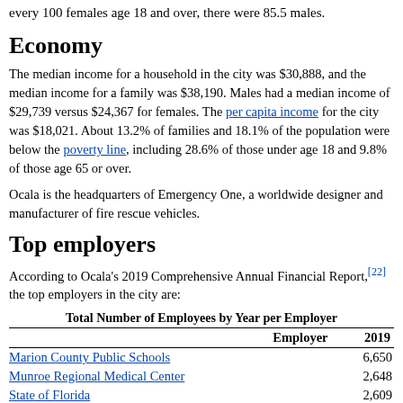every 100 females age 18 and over, there were 85.5 males.
Economy
The median income for a household in the city was $30,888, and the median income for a family was $38,190. Males had a median income of $29,739 versus $24,367 for females. The per capita income for the city was $18,021. About 13.2% of families and 18.1% of the population were below the poverty line, including 28.6% of those under age 18 and 9.8% of those age 65 or over.
Ocala is the headquarters of Emergency One, a worldwide designer and manufacturer of fire rescue vehicles.
Top employers
According to Ocala's 2019 Comprehensive Annual Financial Report,[22] the top employers in the city are:
Total Number of Employees by Year per Employer
| Employer | 2019 |
| --- | --- |
| Marion County Public Schools | 6,650 |
| Munroe Regional Medical Center | 2,648 |
| State of Florida | 2,609 |